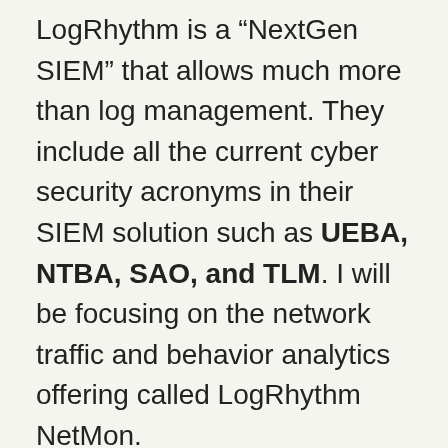LogRhythm is a “NextGen SIEM” that allows much more than log management. They include all the current cyber security acronyms in their SIEM solution such as UEBA, NTBA, SAO, and TLM. I will be focusing on the network traffic and behavior analytics offering called LogRhythm NetMon.
LogRhythm NetMon is used to collect inline or mirrored traffic traversing your network and provide the ability to analyze packets from layer 2-7. Rules can be created to recognize malicious file transfers, possible C&C communication, lateral movement, data ex-filtration, or other possible inappropriate network usage.